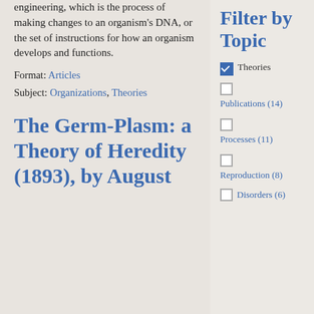engineering, which is the process of making changes to an organism's DNA, or the set of instructions for how an organism develops and functions.
Format: Articles
Subject: Organizations, Theories
The Germ-Plasm: a Theory of Heredity (1893), by August
Filter by Topic
Theories (checked)
Publications (14)
Processes (11)
Reproduction (8)
Disorders (6)